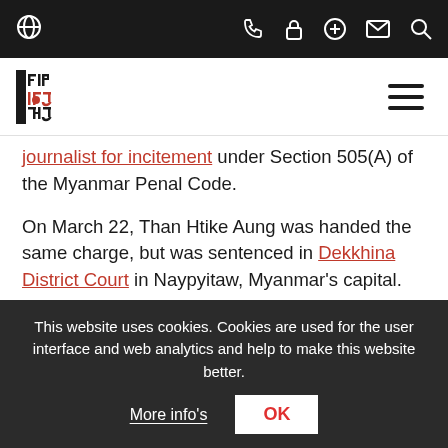IFJ website navigation bar with globe, phone, lock, plus, mail, search icons
[Figure (logo): IFJ (International Federation of Journalists) logo with red dot and mirrored text, black and red]
journalist for incitement under Section 505(A) of the Myanmar Penal Code.
On March 22, Than Htike Aung was handed the same charge, but was sentenced in Dekkhina District Court in Naypyitaw, Myanmar's capital. Section 505(A) of Myanmar's Penal Code criminalises the circulation of any information that is deemed “false news” against the military regime. Both journalists pleaded not guilty.
This website uses cookies. Cookies are used for the user interface and web analytics and help to make this website better.